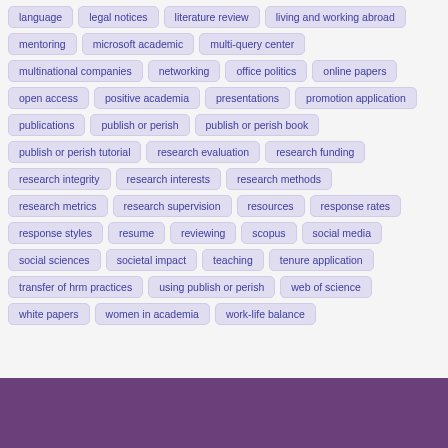language
legal notices
literature review
living and working abroad
mentoring
microsoft academic
multi-query center
multinational companies
networking
office politics
online papers
open access
positive academia
presentations
promotion application
publications
publish or perish
publish or perish book
publish or perish tutorial
research evaluation
research funding
research integrity
research interests
research methods
research metrics
research supervision
resources
response rates
response styles
resume
reviewing
scopus
social media
social sciences
societal impact
teaching
tenure application
transfer of hrm practices
using publish or perish
web of science
white papers
women in academia
work-life balance